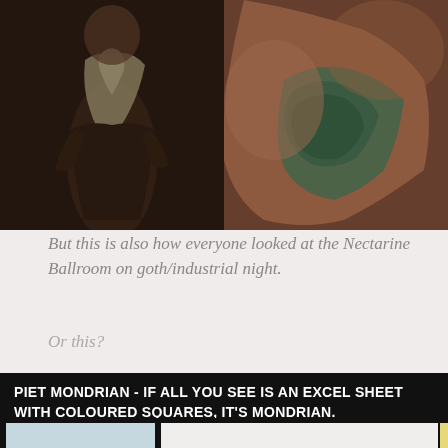[Figure (illustration): Two dark Renaissance-style oil paintings side by side. Left: a figure with white/cream fabric draped over them against a dark background. Right: a figure showing shoulders and back with green/teal drapery.]
But this is also how everyone looked at the Nectarine Ballroom on goth/industrial night.
Or this?
PIET MONDRIAN - IF ALL YOU SEE IS AN EXCEL SHEET WITH COLOURED SQUARES, IT'S MONDRIAN.
[Figure (illustration): Piet Mondrian style grid painting with thick black lines forming rectangles filled with white, light blue, red, and yellow colors.]